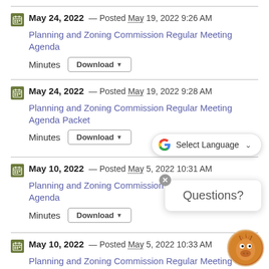May 24, 2022 — Posted May 19, 2022 9:26 AM
Planning and Zoning Commission Regular Meeting Agenda
Minutes Download
May 24, 2022 — Posted May 19, 2022 9:28 AM
Planning and Zoning Commission Regular Meeting Agenda Packet
Minutes Download
May 10, 2022 — Posted May 5, 2022 10:31 AM
Planning and Zoning Commission Regular Meeting Agenda
Minutes Download
May 10, 2022 — Posted May 5, 2022 10:33 AM
Planning and Zoning Commission Regular Meeting